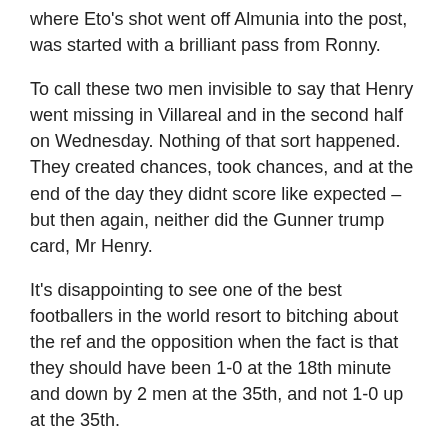where Eto's shot went off Almunia into the post, was started with a brilliant pass from Ronny.
To call these two men invisible to say that Henry went missing in Villareal and in the second half on Wednesday. Nothing of that sort happened. They created chances, took chances, and at the end of the day they didnt score like expected – but then again, neither did the Gunner trump card, Mr Henry.
It's disappointing to see one of the best footballers in the world resort to bitching about the ref and the opposition when the fact is that they should have been 1-0 at the 18th minute and down by 2 men at the 35th, and not 1-0 up at the 35th.
Henry's “I'm with Mourinho” comment cracked me up. I suppose he was referring to one of two things – that Barca were cheated and the ref sided with the way that B...